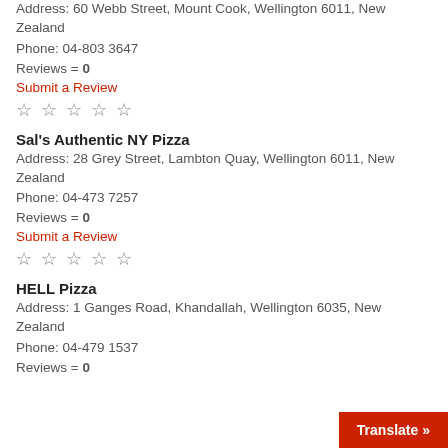Address: 60 Webb Street, Mount Cook, Wellington 6011, New Zealand
Phone: 04-803 3647
Reviews = 0
Submit a Review
☆ ☆ ☆ ☆ ☆
Sal's Authentic NY Pizza
Address: 28 Grey Street, Lambton Quay, Wellington 6011, New Zealand
Phone: 04-473 7257
Reviews = 0
Submit a Review
☆ ☆ ☆ ☆ ☆
HELL Pizza
Address: 1 Ganges Road, Khandallah, Wellington 6035, New Zealand
Phone: 04-479 1537
Reviews = 0